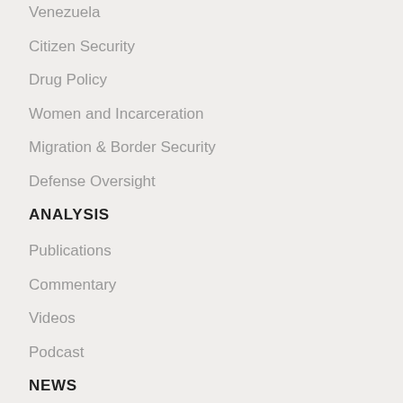Venezuela
Citizen Security
Drug Policy
Women and Incarceration
Migration & Border Security
Defense Oversight
ANALYSIS
Publications
Commentary
Videos
Podcast
NEWS
Latest News
Press Room
GET INVOLVED